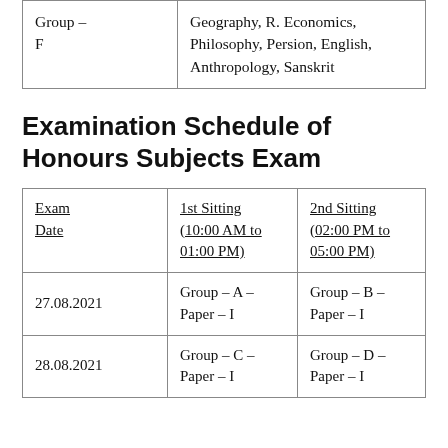|  |  |
| --- | --- |
| Group – F | Geography, R. Economics, Philosophy, Persion, English, Anthropology, Sanskrit |
Examination Schedule of Honours Subjects Exam
| Exam Date | 1st Sitting (10:00 AM to 01:00 PM) | 2nd Sitting (02:00 PM to 05:00 PM) |
| --- | --- | --- |
| 27.08.2021 | Group – A – Paper – I | Group – B – Paper – I |
| 28.08.2021 | Group – C – Paper – I | Group – D – Paper – I |